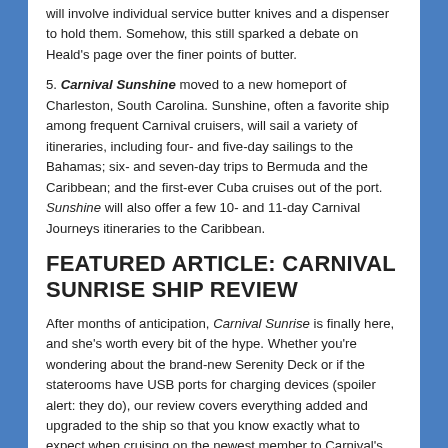will involve individual service butter knives and a dispenser to hold them. Somehow, this still sparked a debate on Heald's page over the finer points of butter.
5. Carnival Sunshine moved to a new homeport of Charleston, South Carolina. Sunshine, often a favorite ship among frequent Carnival cruisers, will sail a variety of itineraries, including four- and five-day sailings to the Bahamas; six- and seven-day trips to Bermuda and the Caribbean; and the first-ever Cuba cruises out of the port. Sunshine will also offer a few 10- and 11-day Carnival Journeys itineraries to the Caribbean.
FEATURED ARTICLE: CARNIVAL SUNRISE SHIP REVIEW
After months of anticipation, Carnival Sunrise is finally here, and she's worth every bit of the hype. Whether you're wondering about the brand-new Serenity Deck or if the staterooms have USB ports for charging devices (spoiler alert: they do), our review covers everything added and upgraded to the ship so that you know exactly what to expect when cruising on the newest member to Carnival's fleet.